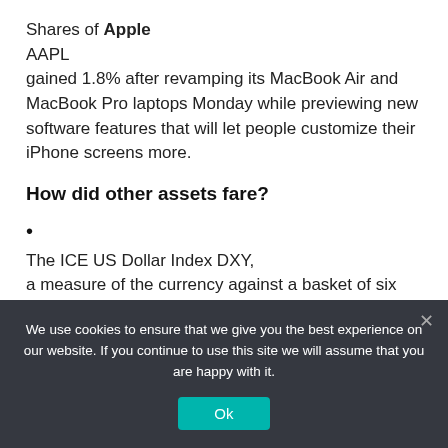Shares of Apple AAPL gained 1.8% after revamping its MacBook Air and MacBook Pro laptops Monday while previewing new software features that will let people customize their iPhone screens more.
How did other assets fare?
•
The ICE US Dollar Index DXY, a measure of the currency against a basket of six major rivals, edged down 0.1%.
We use cookies to ensure that we give you the best experience on our website. If you continue to use this site we will assume that you are happy with it.